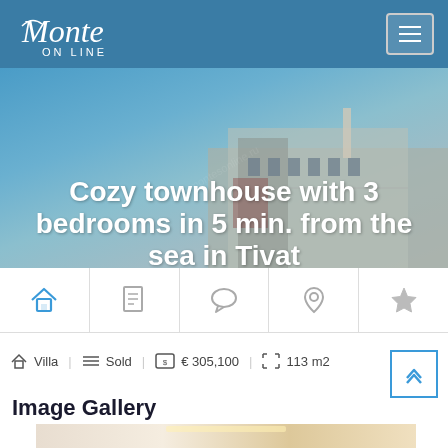Monte ON LINE
[Figure (photo): Exterior photo of a townhouse with balconies and sky background, with overlay title text]
Cozy townhouse with 3 bedrooms in 5 min. from the sea in Tivat
[Figure (infographic): Navigation icon bar with home, document, chat, location pin, and star icons]
Villa | Sold | € 305,100 | 113 m2
Image Gallery
[Figure (photo): Interior room photo showing ceiling light fixture]